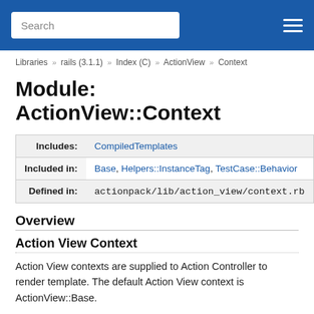Search [search box] [hamburger menu]
Libraries » rails (3.1.1) » Index (C) » ActionView » Context
Module: ActionView::Context
|  |  |
| --- | --- |
| Includes: | CompiledTemplates |
| Included in: | Base, Helpers::InstanceTag, TestCase::Behavior |
| Defined in: | actionpack/lib/action_view/context.rb |
Overview
Action View Context
Action View contexts are supplied to Action Controller to render template. The default Action View context is ActionView::Base.
In order to work with ActionController, a Context must just include this module. The initialization of the variables used by